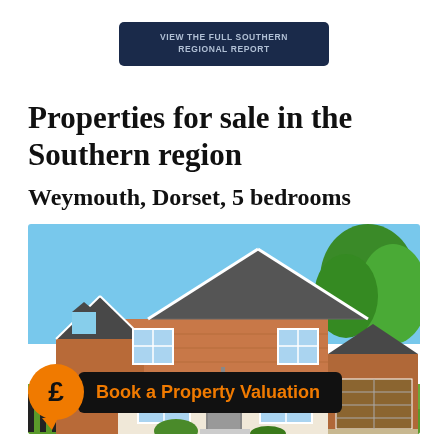VIEW THE FULL SOUTHERN REGIONAL REPORT
Properties for sale in the Southern region
Weymouth, Dorset, 5 bedrooms
[Figure (photo): Exterior photo of a 5-bedroom detached brick house with gable roof, white window frames, single garage, green trees in background, clear blue sky]
Book a Property Valuation